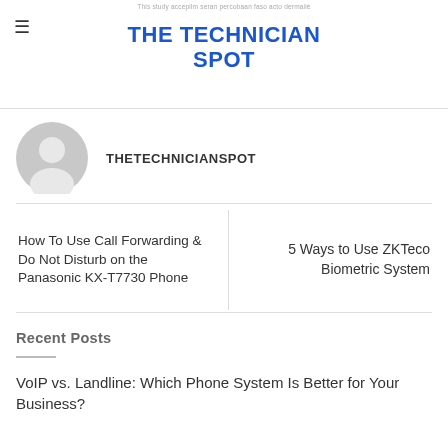THE TECHNICIAN SPOT
THETECHNICIANSPOT
How To Use Call Forwarding & Do Not Disturb on the Panasonic KX-T7730 Phone
5 Ways to Use ZKTeco Biometric System
Recent Posts
VoIP vs. Landline: Which Phone System Is Better for Your Business?